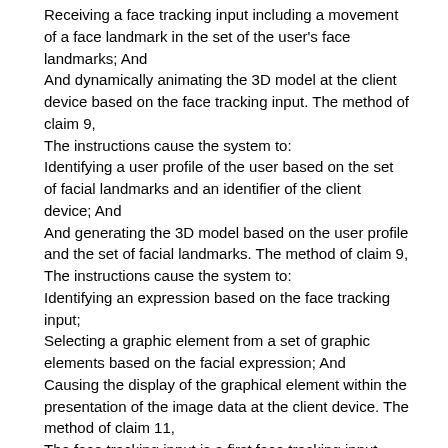Receiving a face tracking input including a movement of a face landmark in the set of the user's face landmarks; And
And dynamically animating the 3D model at the client device based on the face tracking input. The method of claim 9,
The instructions cause the system to:
Identifying a user profile of the user based on the set of facial landmarks and an identifier of the client device; And
And generating the 3D model based on the user profile and the set of facial landmarks. The method of claim 9,
The instructions cause the system to:
Identifying an expression based on the face tracking input;
Selecting a graphic element from a set of graphic elements based on the facial expression; And
Causing the display of the graphical element within the presentation of the image data at the client device. The method of claim 11,
The face tracking input is a first face tracking input, and the instructions cause the system to:
Receiving a second face tracking input, the second face tracking input comprising a second movement of a facial landmark in the set of facial landmarks; And
And applying a change to the graphic element based on the second face tracking input. The method of claim 9,
The instructions cause the system to: